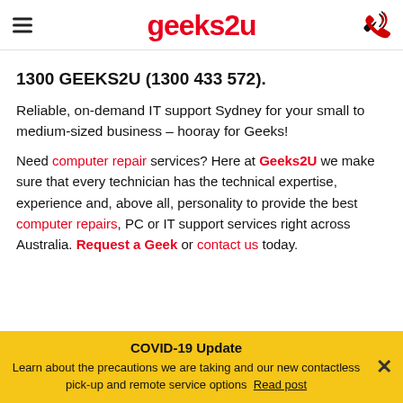geeks2u header with hamburger menu and phone icon
1300 GEEKS2U (1300 433 572).
Reliable, on-demand IT support Sydney for your small to medium-sized business – hooray for Geeks!
Need computer repair services? Here at Geeks2U we make sure that every technician has the technical expertise, experience and, above all, personality to provide the best computer repairs, PC or IT support services right across Australia. Request a Geek or contact us today.
COVID-19 Update
Learn about the precautions we are taking and our new contactless pick-up and remote service options Read post